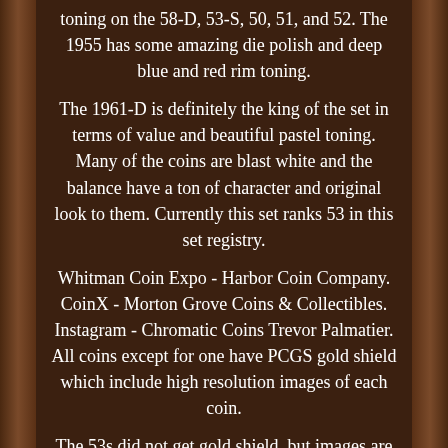toning on the 58-D, 53-S, 50, 51, and 52. The 1955 has some amazing die polish and deep blue and red rim toning.
The 1961-D is definitely the king of the set in terms of value and beautiful pastel toning. Many of the coins are blast white and the balance have a ton of character and original look to them. Currently this set ranks 53 in this set registry.
Whitman Coin Expo - Harbor Coin Company. CoinX - Morton Grove Coins & Collectibles. Instagram - Chromatic Coins Trevor Palmatier. All coins except for one have PCGS gold shield which include high resolution images of each coin.
The 53s did not get gold shield, but images are still available. The collection will come in two brand new PCGS Blue Boxes, which are becoming scarcer and will also include all original crack out grade tags & original packaging. See pics, this is exactly collection we will be sending you. This collection is looking for a new home and a proud collector to